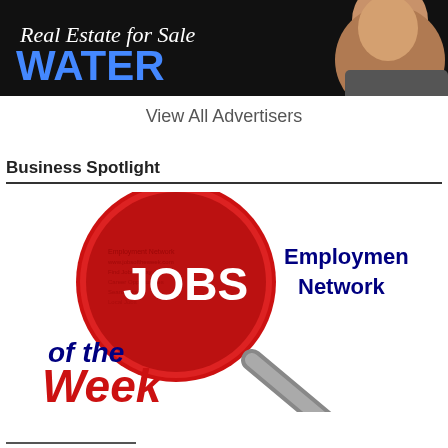[Figure (photo): Real Estate for Sale WATER banner with a smiling man in a suit on a dark/black background with white italic serif text 'Real Estate for Sale' and bold blue text 'WATER']
View All Advertisers
Business Spotlight
[Figure (logo): Jobs of the Week Employment Network logo: a red magnifying glass with white text 'JOBS' inside, text 'Employment Network' in dark blue bold to the right, and 'of the Week' in dark blue italic below with 'Week' in red bold italic]